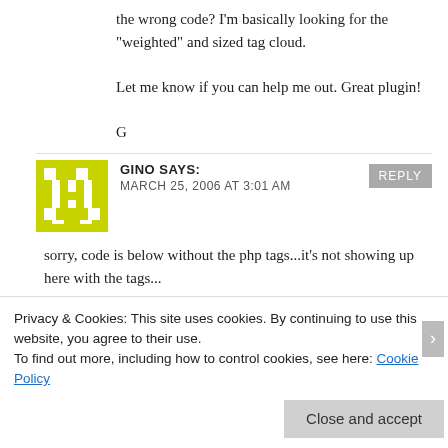the wrong code? I'm basically looking for the "weighted" and sized tag cloud.

Let me know if you can help me out. Great plugin!

G
[Figure (other): Avatar image for commenter Gino — yellow/green pixel art pattern]
GINO SAYS: MARCH 25, 2006 AT 3:01 AM
sorry, code is below without the php tags...it's not showing up here with the tags...

UTW_ShowWeightedTagSetAlphabetical("coloredsized tagcloud","",0)
[Figure (photo): Partial website banner strip with orange/black/red colors and a logo]
Privacy & Cookies: This site uses cookies. By continuing to use this website, you agree to their use.
To find out more, including how to control cookies, see here: Cookie Policy
Close and accept